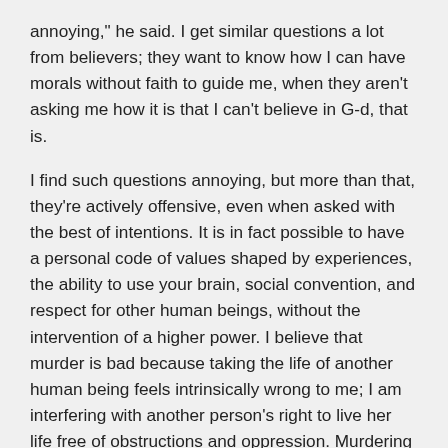annoying," he said. I get similar questions a lot from believers; they want to know how I can have morals without faith to guide me, when they aren't asking me how it is that I can't believe in G-d, that is.
I find such questions annoying, but more than that, they're actively offensive, even when asked with the best of intentions. It is in fact possible to have a personal code of values shaped by experiences, the ability to use your brain, social convention, and respect for other human beings, without the intervention of a higher power. I believe that murder is bad because taking the life of another human being feels intrinsically wrong to me; I am interfering with another person's right to live her life free of obstructions and oppression. Murdering someone is pretty much the ultimate deprivation of autonomy and choice, which goes against everything I believe in.